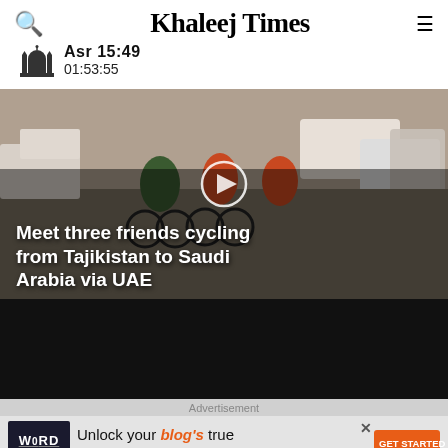Khaleej Times
Asr 15:49
01:53:55
[Figure (photo): Three cyclists riding on a busy road with cars in background, overlaid with text: Meet three friends cycling from Tajikistan to Saudi Arabia via UAE]
Meet three friends cycling from Tajikistan to Saudi Arabia via UAE
[Figure (other): Black advertisement video block]
Advertisement
[Figure (other): Word Ministries ad banner: Unlock your blog's true revenue potential — GET STARTED button]